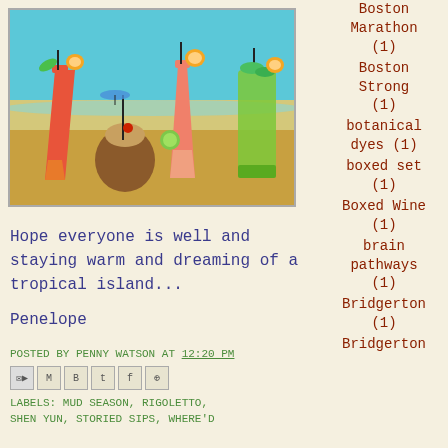[Figure (photo): Colorful tropical cocktail drinks on a beach background with sky, sand, and various garnished drinks including a coconut drink, hurricane glass, and other tropical beverages]
Hope everyone is well and staying warm and dreaming of a tropical island...
Penelope
POSTED BY PENNY WATSON AT 12:20 PM
LABELS: MUD SEASON, RIGOLETTO, SHEN YUN, STORIED SIPS, WHERE'D
Boston Marathon (1)
Boston Strong (1)
botanical dyes (1)
boxed set (1)
Boxed Wine (1)
brain pathways (1)
Bridgerton (1)
Bridgerton